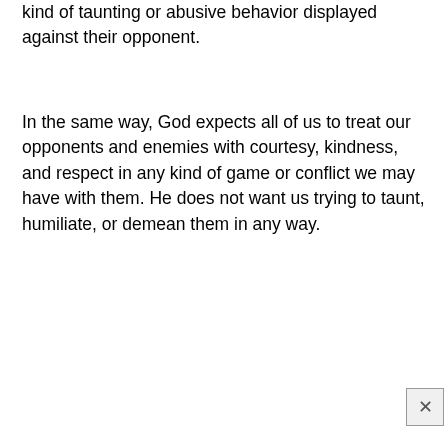kind of taunting or abusive behavior displayed against their opponent.
In the same way, God expects all of us to treat our opponents and enemies with courtesy, kindness, and respect in any kind of game or conflict we may have with them. He does not want us trying to taunt, humiliate, or demean them in any way.